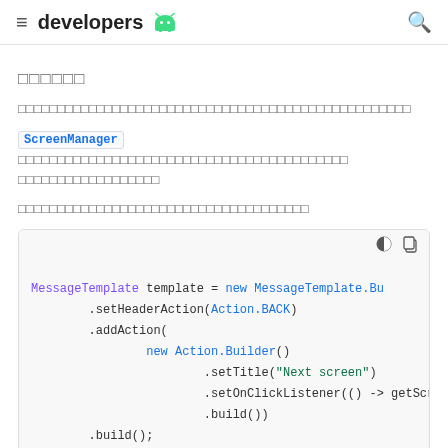developers
ภาษาไทย (Thai characters - section title)
Thai body text paragraph (rendered as square boxes due to font encoding)
ScreenManager Thai text description paragraph
Thai text paragraph second
[Figure (screenshot): Code block showing Java/Android code: MessageTemplate template = new MessageTemplate.Bu... .setHeaderAction(Action.BACK) .addAction( new Action.Builder() .setTitle("Next screen") .setOnClickListener(() -> getScreenMa .build()) .build();]